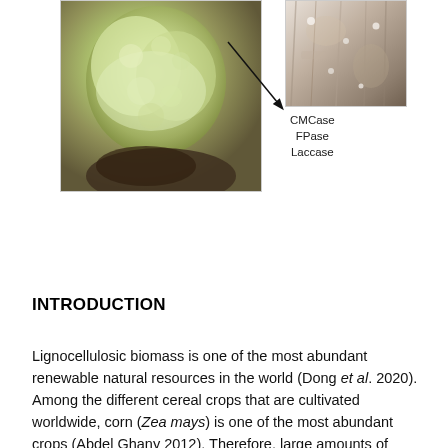[Figure (photo): Two photographs: left shows a close-up of a fungal growth (white/yellow-green colony) on a substrate; right shows a textured surface (bark or substrate). An arrow points from the left photo to the right photo area, with labels CMCase, FPase, Laccase annotated near the arrowhead.]
INTRODUCTION
Lignocellulosic biomass is one of the most abundant renewable natural resources in the world (Dong et al. 2020). Among the different cereal crops that are cultivated worldwide, corn (Zea mays) is one of the most abundant crops (Abdel Ghany 2012). Therefore, large amounts of lignocellulosic materials as waste are collected from corn fields (Rahman et al. 2020). Agricultural and agro-industrial activities also produce tons of by-products such as sugarcane bagasse, citrus